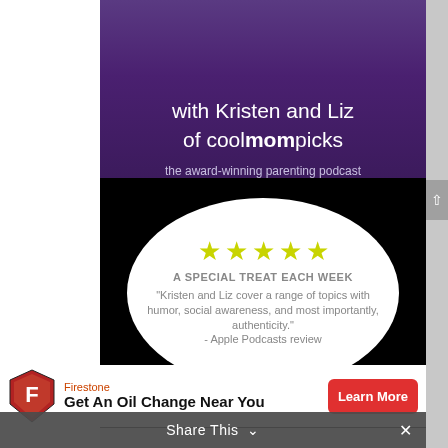with Kristen and Liz of coolmompicks
the award-winning parenting podcast
[Figure (infographic): Speech bubble on black background with five yellow stars and a five-star Apple Podcasts review quote: 'A SPECIAL TREAT EACH WEEK. Kristen and Liz cover a range of topics with humor, social awareness, and most importantly, authenticity.' - Apple Podcasts review]
[Figure (infographic): Firestone advertisement banner: logo shield, brand name 'Firestone', headline 'Get An Oil Change Near You', red 'Learn More' button]
Be... [partial text] ...a week
Share This ∨
×